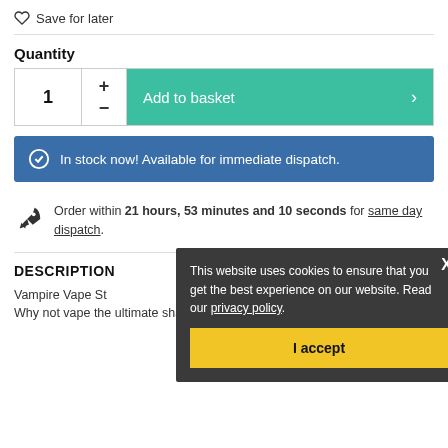Save for later
Quantity
1  +  −  Add to basket  >
In stock now! Available for immediate dispatch.
Order within 21 hours, 53 minutes and 10 seconds for same day dispatch.
DESCRIPTION
Vampire Vape Strawberry Milkshake Flavour Concentrate
Why not vape the ultimate shake? The flavourist at Vampire Vape
This website uses cookies to ensure that you get the best experience on our website. Read our privacy policy.
I accept